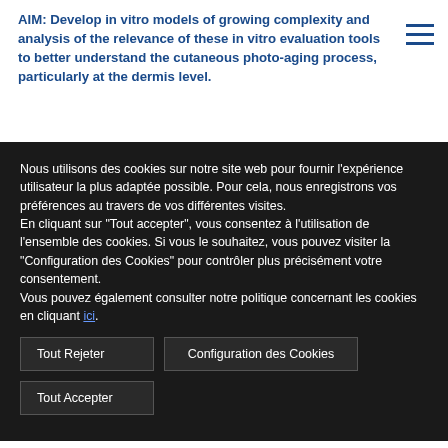AIM: Develop in vitro models of growing complexity and analysis of the relevance of these in vitro evaluation tools to better understand the cutaneous photo-aging process, particularly at the dermis level.
Nous utilisons des cookies sur notre site web pour fournir l'expérience utilisateur la plus adaptée possible. Pour cela, nous enregistrons vos préférences au travers de vos différentes visites.
En cliquant sur "Tout accepter", vous consentez à l'utilisation de l'ensemble des cookies. Si vous le souhaitez, vous pouvez visiter la "Configuration des Cookies" pour contrôler plus précisément votre consentement.
Vous pouvez également consulter notre politique concernant les cookies en cliquant ici.
Tout Rejeter
Configuration des Cookies
Tout Accepter